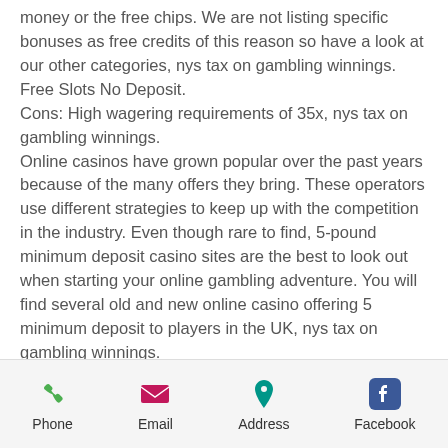money or the free chips. We are not listing specific bonuses as free credits of this reason so have a look at our other categories, nys tax on gambling winnings. Free Slots No Deposit. Cons: High wagering requirements of 35x, nys tax on gambling winnings. Online casinos have grown popular over the past years because of the many offers they bring. These operators use different strategies to keep up with the competition in the industry. Even though rare to find, 5-pound minimum deposit casino sites are the best to look out when starting your online gambling adventure. You will find several old and new online casino offering 5 minimum deposit to players in the UK, nys tax on gambling winnings.
Phone | Email | Address | Facebook